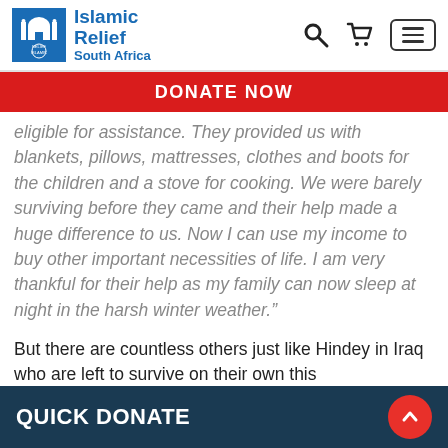[Figure (logo): Islamic Relief South Africa logo with blue mosque icon and blue text]
DONATE NOW
eligible for assistance. They provided us with blankets, pillows, mattresses, clothes and boots for the children and a stove for cooking. We were barely surviving before they came and their help made a huge difference to us. Now I can use my income to buy other important necessities of life. I am very thankful for their help as my family can now sleep at night in the harsh winter weather.”
But there are countless others just like Hindey in Iraq who are left to survive on their own this
QUICK DONATE